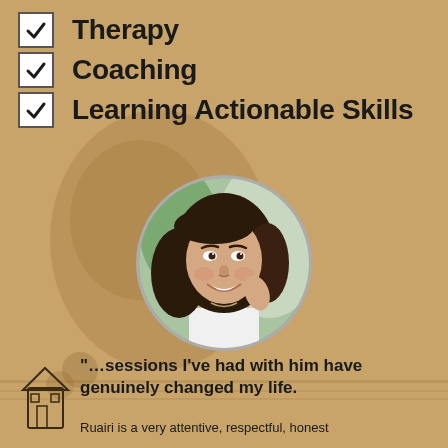Therapy
Coaching
Learning Actionable Skills
[Figure (photo): Circular portrait photo of a smiling woman with long dark hair]
“…sessions I’ve had with him have genuinely changed my life.
Ruairi is a very attentive, respectful, honest